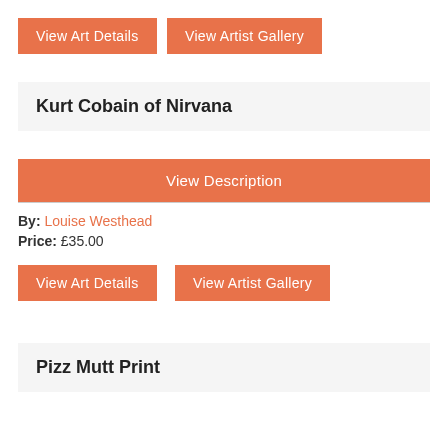View Art Details | View Artist Gallery (buttons)
Kurt Cobain of Nirvana
View Description (button)
By: Louise Westhead
Price: £35.00
View Art Details | View Artist Gallery (buttons)
Pizz Mutt Print